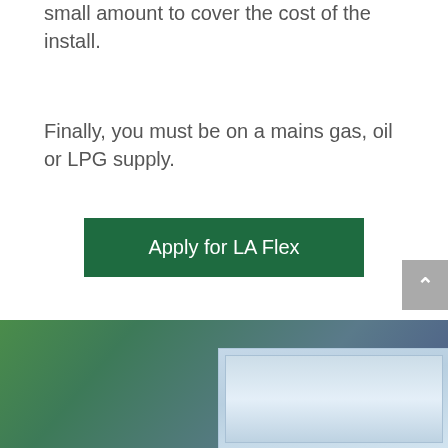small amount to cover the cost of the install.
Finally, you must be on a mains gas, oil or LPG supply.
Apply for LA Flex
[Figure (photo): Green and blue gradient footer section with a partial image of what appears to be a window or panel on the right side]